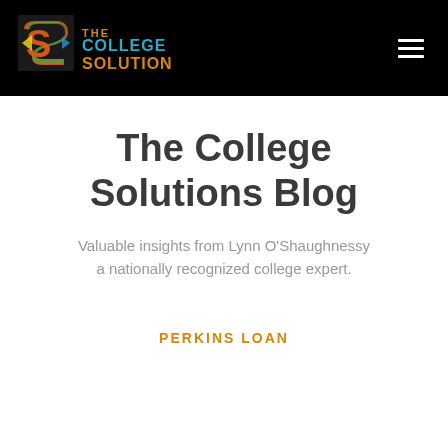[Figure (logo): The College Solution logo with colorful 'S' icon and text 'THE COLLEGE SOLUTION' in orange and teal on black background]
The College Solutions Blog
Valuable insights from Lynn O'Shaughnessy a nationally recognized college expert.
PERKINS LOAN